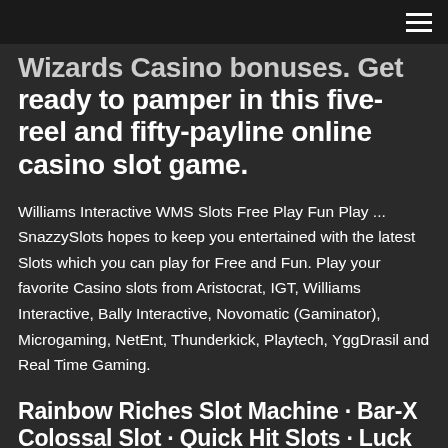[hamburger menu icon]
Wizards Casino bonuses. Get ready to pamper in this five-reel and fifty-payline online casino slot game.
Williams Interactive WMS Slots Free Play Fun Play ... SnazzySlots hopes to keep you entertained with the latest Slots which you can play for Free and Fun. Play your favorite Casino slots from Aristocrat, IGT, Williams Interactive, Bally Interactive, Novomatic (Gaminator), Microgaming, NetEnt, Thunderkick, Playtech, YggDrasil and Real Time Gaming.
Rainbow Riches Slot Machine · Bar-X Colossal Slot · Quick Hit Slots · Luck O'